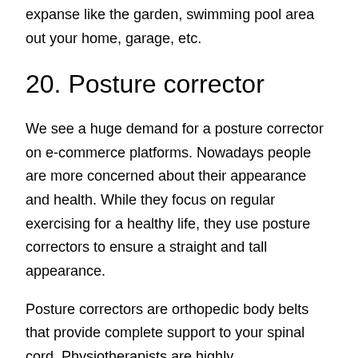expanse like the garden, swimming pool area out your home, garage, etc.
20. Posture corrector
We see a huge demand for a posture corrector on e-commerce platforms. Nowadays people are more concerned about their appearance and health. While they focus on regular exercising for a healthy life, they use posture correctors to ensure a straight and tall appearance.
Posture correctors are orthopedic body belts that provide complete support to your spinal cord. Physiotherapists are highly recommending the use of these belts these days.